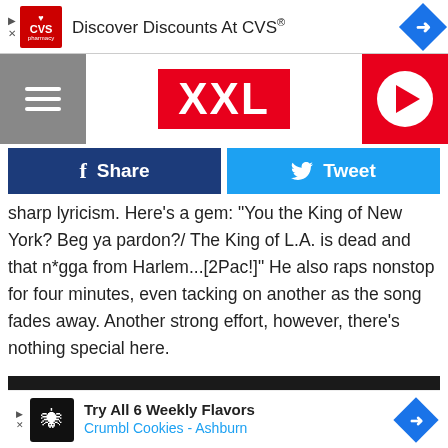[Figure (screenshot): CVS Pharmacy ad banner at top: CVS logo, 'Discover Discounts At CVS®' text, navigation arrow icon]
[Figure (screenshot): XXL magazine website navigation bar with hamburger menu, XXL red logo, and red play button]
[Figure (screenshot): Social share buttons: dark blue Facebook Share button and light blue Tweet button]
sharp lyricism. Here's a gem: 'You the King of New York? Beg ya pardon?/ The King of L.A. is dead and that n*gga from Harlem...[2Pac!]" He also raps nonstop for four minutes, even tacking on another as the song fades away. Another strong effort, however, there's nothing special here.
[Figure (screenshot): Dark video player area embedded in article]
[Figure (screenshot): Crumbl Cookies ad banner: logo, 'Try All 6 Weekly Flavors', 'Crumbl Cookies - Ashburn', navigation arrow]